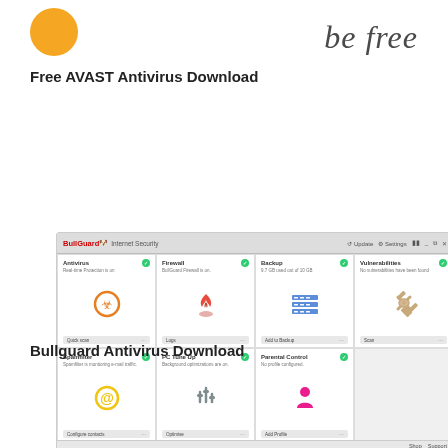[Figure (logo): Avast logo orange circle with italic 'be free' text]
Free AVAST Antivirus Download
[Figure (screenshot): BullGuard Internet Security software screenshot showing dashboard with Antivirus, Firewall, Backup, Vulnerabilities, Spamfilter, PC Tune Up, and Parental Control modules]
Bullguard Antivirus Download